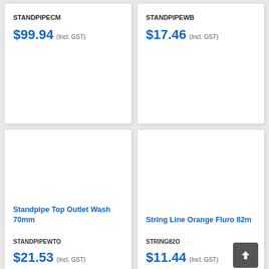STANDPIPECM
$99.94 (Incl. GST)
STANDPIPEWB
$17.46 (Incl. GST)
Standpipe Top Outlet Wash 70mm
STANDPIPEWTO
$21.53 (Incl. GST)
String Line Orange Fluro 82m
STRING82O
$11.44 (Incl. GST)